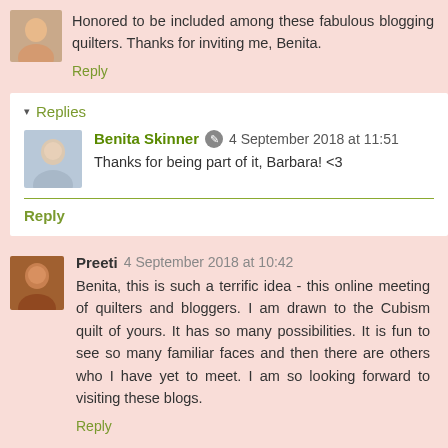Honored to be included among these fabulous blogging quilters. Thanks for inviting me, Benita.
Reply
Replies
Benita Skinner  4 September 2018 at 11:51
Thanks for being part of it, Barbara! <3
Reply
Preeti  4 September 2018 at 10:42
Benita, this is such a terrific idea - this online meeting of quilters and bloggers. I am drawn to the Cubism quilt of yours. It has so many possibilities. It is fun to see so many familiar faces and then there are others who I have yet to meet. I am so looking forward to visiting these blogs.
Reply